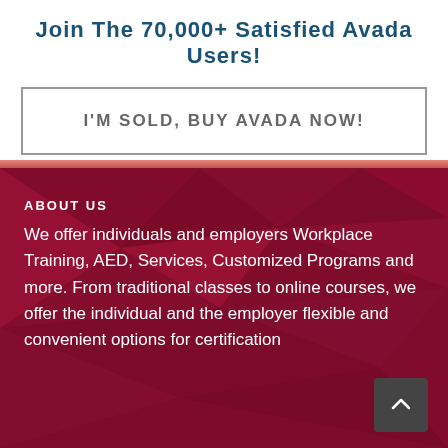Join The 70,000+ Satisfied Avada Users!
I'M SOLD, BUY AVADA NOW!
ABOUT US
We offer individuals and employers Workplace Training, AED, Services, Customized Programs and more. From traditional classes to online courses, we offer the individual and the employer flexible and convenient options for certification